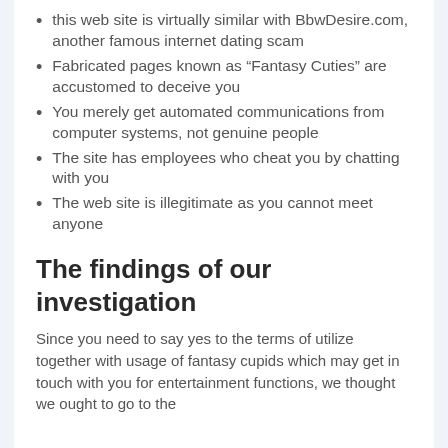this web site is virtually similar with BbwDesire.com, another famous internet dating scam
Fabricated pages known as “Fantasy Cuties” are accustomed to deceive you
You merely get automated communications from computer systems, not genuine people
The site has employees who cheat you by chatting with you
The web site is illegitimate as you cannot meet anyone
The findings of our investigation
Since you need to say yes to the terms of utilize together with usage of fantasy cupids which may get in touch with you for entertainment functions, we thought we ought to go to the